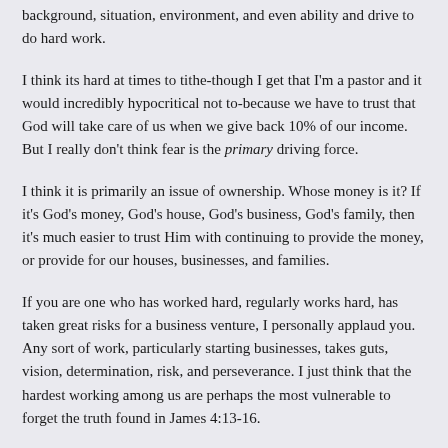background, situation, environment, and even ability and drive to do hard work.
I think its hard at times to tithe-though I get that I'm a pastor and it would incredibly hypocritical not to-because we have to trust that God will take care of us when we give back 10% of our income. But I really don't think fear is the primary driving force.
I think it is primarily an issue of ownership. Whose money is it? If it's God's money, God's house, God's business, God's family, then it's much easier to trust Him with continuing to provide the money, or provide for our houses, businesses, and families.
If you are one who has worked hard, regularly works hard, has taken great risks for a business venture, I personally applaud you. Any sort of work, particularly starting businesses, takes guts, vision, determination, risk, and perseverance. I just think that the hardest working among us are perhaps the most vulnerable to forget the truth found in James 4:13-16.
Distinctly Republican thinking (of which I lean) or distinctly American individualistic thinking (of which most people lean) can sometimes replace-